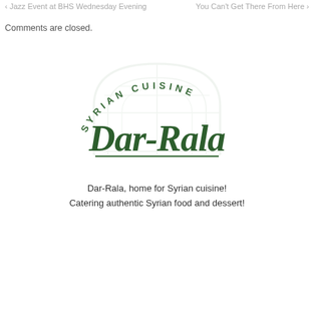‹ Jazz Event at BHS Wednesday Evening    You Can't Get There From Here ›
Comments are closed.
[Figure (logo): Dar-Rala Syrian Cuisine logo: arched building watermark with 'SYRIAN CUISINE' text arched above and 'Dar-Rala' in cursive script below, in dark green color]
Dar-Rala, home for Syrian cuisine!
Catering authentic Syrian food and dessert!